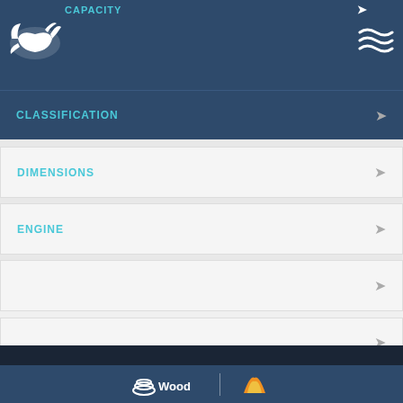CAPACITY
CLASSIFICATION
DIMENSIONS
ENGINE
We use cookies to improve your experience. We take your privacy very seriously. Please see our privacy policy for details and any questions.
Learn more
Opt-out
Allow cookies
Wood